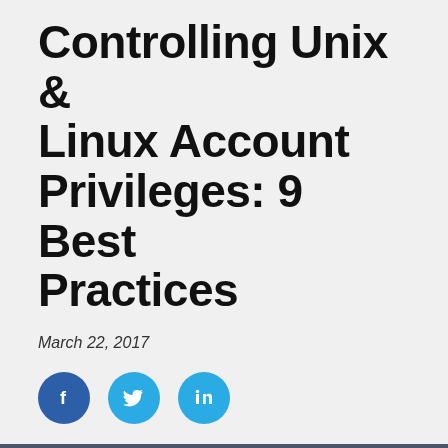Controlling Unix & Linux Account Privileges: 9 Best Practices
March 22, 2017
[Figure (other): Social share buttons: Facebook, Twitter, LinkedIn]
Blog    Archive